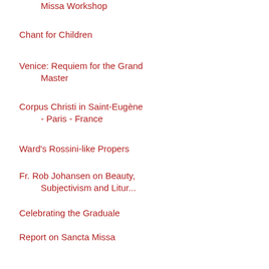Missa Workshop
Chant for Children
Venice: Requiem for the Grand Master
Corpus Christi in Saint-Eugène - Paris - France
Ward's Rossini-like Propers
Fr. Rob Johansen on Beauty, Subjectivism and Litur...
Celebrating the Graduale
Report on Sancta Missa Workshop, May 19-23, Chicago
The problem of perfect pitch
They did it!
Inaugural Juventutem Mass held in Sydney